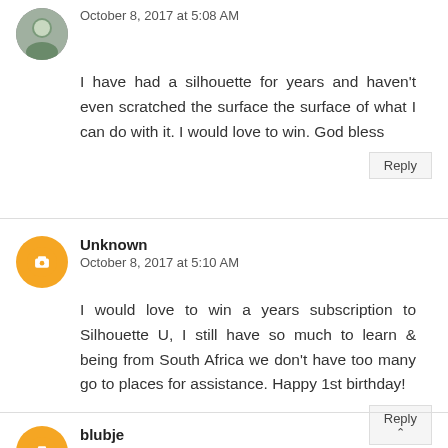[Figure (photo): User avatar photo of a person outdoors]
October 8, 2017 at 5:08 AM
I have had a silhouette for years and haven't even scratched the surface the surface of what I can do with it. I would love to win. God bless
Reply
Unknown
October 8, 2017 at 5:10 AM
I would love to win a years subscription to Silhouette U, I still have so much to learn & being from South Africa we don't have too many go to places for assistance. Happy 1st birthday!
Reply
[Figure (illustration): Orange Blogger icon avatar]
blubje